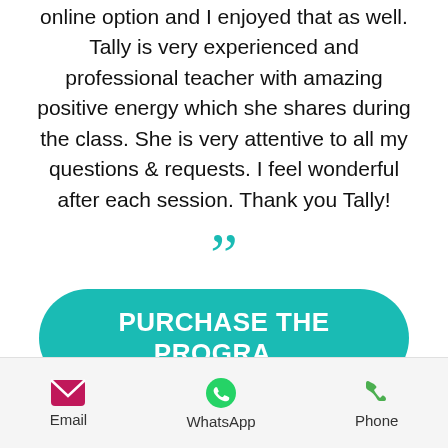online option and I enjoyed that as well. Tally is very experienced and professional teacher with amazing positive energy which she shares during the class. She is very attentive to all my questions & requests. I feel wonderful after each session. Thank you Tally!
[Figure (illustration): Closing double quotation mark in teal color]
[Figure (illustration): Teal rounded button with text PURCHASE THE PROGRA...]
[Figure (illustration): Yellow rounded Buy Now button and gray scroll-to-top arrow button]
Email   WhatsApp   Phone